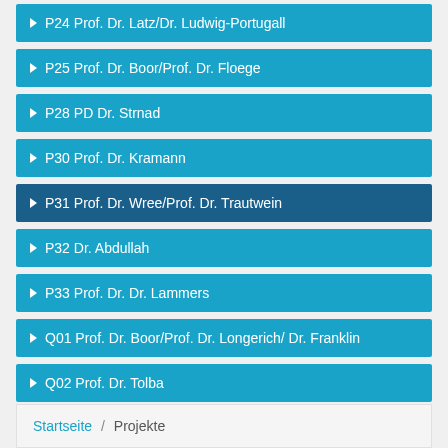P24 Prof. Dr. Latz/Dr. Ludwig-Portugall
P25 Prof. Dr. Boor/Prof. Dr. Floege
P28 PD Dr. Strnad
P30 Prof. Dr. Kramann
P31 Prof. Dr. Wree/Prof. Dr. Trautwein
P32 Dr. Abdullah
P33 Prof. Dr. Dr. Lammers
Q01 Prof. Dr. Boor/Prof. Dr. Longerich/ Dr. Franklin
Q02 Prof. Dr. Tolba
Q03 Prof. Dr. Weiskirchen
Startseite / Projekte